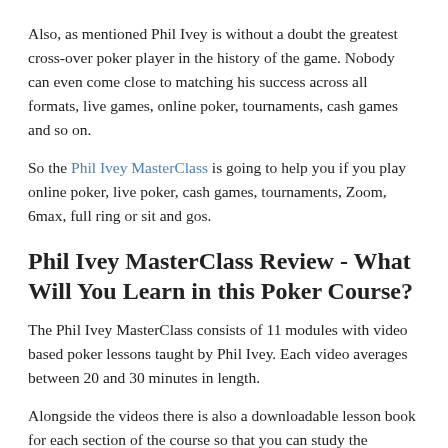Also, as mentioned Phil Ivey is without a doubt the greatest cross-over poker player in the history of the game. Nobody can even come close to matching his success across all formats, live games, online poker, tournaments, cash games and so on.
So the Phil Ivey MasterClass is going to help you if you play online poker, live poker, cash games, tournaments, Zoom, 6max, full ring or sit and gos.
Phil Ivey MasterClass Review - What Will You Learn in this Poker Course?
The Phil Ivey MasterClass consists of 11 modules with video based poker lessons taught by Phil Ivey. Each video averages between 20 and 30 minutes in length.
Alongside the videos there is also a downloadable lesson book for each section of the course so that you can study the material Phil Ivey teaches you on an even deeper level.